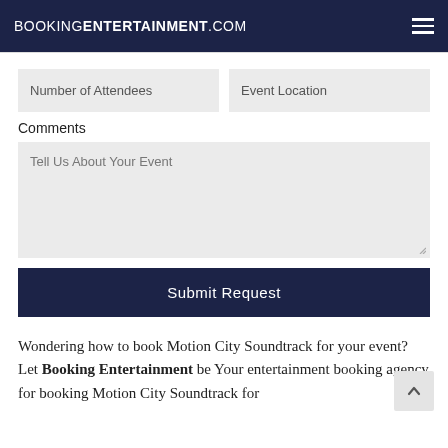BOOKINGENTERTAINMENT.COM
Number of Attendees
Event Location
Comments
Tell Us About Your Event
Submit Request
Wondering how to book Motion City Soundtrack for your event? Let Booking Entertainment be Your entertainment booking agency for booking Motion City Soundtrack for events worldwide.